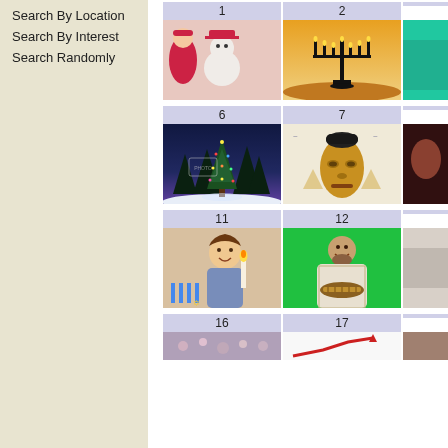Search By Location
Search By Interest
Search Randomly
[Figure (screenshot): Grid of numbered photo thumbnails showing holiday and cultural images. Row 1: cells 1 (Christmas snowman), 2 (Hanukkah menorah at sunset), partial 3. Row 2: cells 6 (lit Christmas tree in snowy forest), 7 (African golden mask), partial 8. Row 3: cells 11 (boy lighting Hanukkah candles), 12 (man holding decorative item on green background), partial 13. Row 4: cells 16, 17 labels and partial thumbnails visible.]